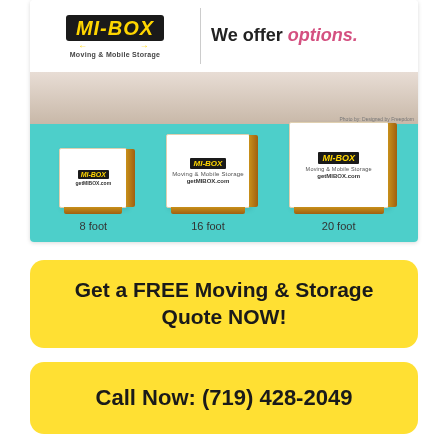[Figure (photo): MI-BOX Moving & Mobile Storage advertisement banner showing logo, 'We offer options.' tagline, person sitting on floor, and three storage containers of different sizes (8 foot, 16 foot, 20 foot) on teal background]
Get a FREE Moving & Storage Quote NOW!
Call Now: (719) 428-2049